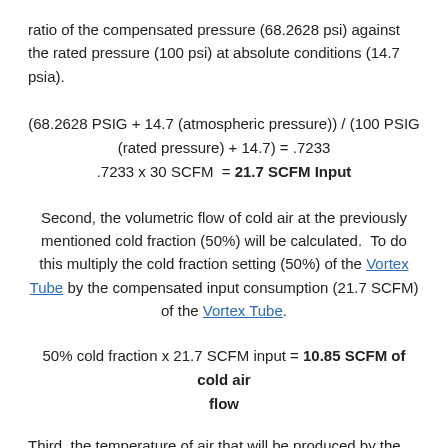ratio of the compensated pressure (68.2628 psi) against the rated pressure (100 psi) at absolute conditions (14.7 psia).
Second, the volumetric flow of cold air at the previously mentioned cold fraction (50%) will be calculated.  To do this multiply the cold fraction setting (50%) of the Vortex Tube by the compensated input consumption (21.7 SCFM) of the Vortex Tube.
Third, the temperature of air that will be produced by the